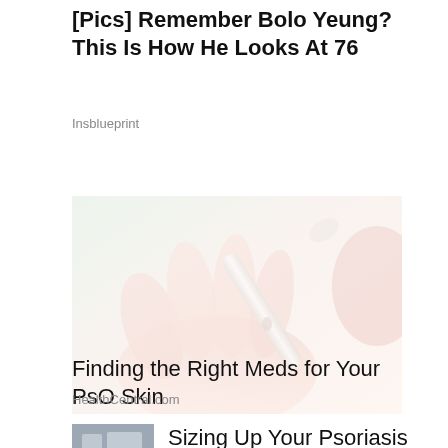[Pics] Remember Bolo Yeung? This Is How He Looks At 76
Insblueprint
[Figure (photo): Close-up photo of a hand with a tube or dropper applying liquid, very bright/washed out light pink tones]
Finding the Right Meds for Your PsO Skin
HealthCentral.com
Sizing Up Your Psoriasis
[Figure (photo): Small thumbnail image, partially visible, appears to show a medical or skin-related image]